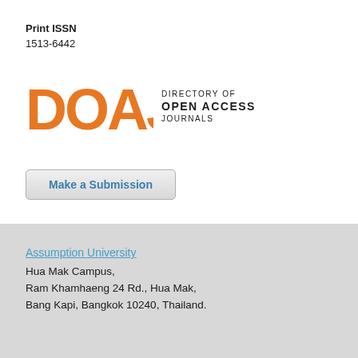Print ISSN
1513-6442
[Figure (logo): DOAJ - Directory of Open Access Journals logo with orange lettering 'DOAJ' and text 'DIRECTORY OF OPEN ACCESS JOURNALS']
Make a Submission
Assumption University
Hua Mak Campus,
Ram Khamhaeng 24 Rd., Hua Mak,
Bang Kapi, Bangkok 10240, Thailand.